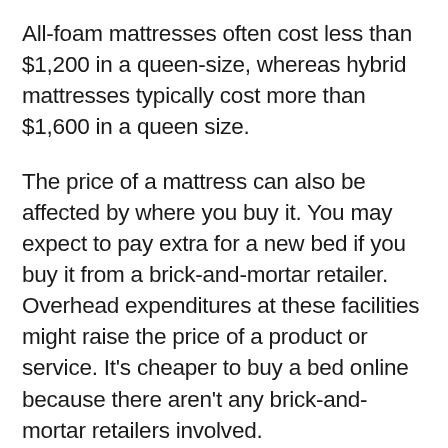All-foam mattresses often cost less than $1,200 in a queen-size, whereas hybrid mattresses typically cost more than $1,600 in a queen size.
The price of a mattress can also be affected by where you buy it. You may expect to pay extra for a new bed if you buy it from a brick-and-mortar retailer. Overhead expenditures at these facilities might raise the price of a product or service. It's cheaper to buy a bed online because there aren't any brick-and-mortar retailers involved.